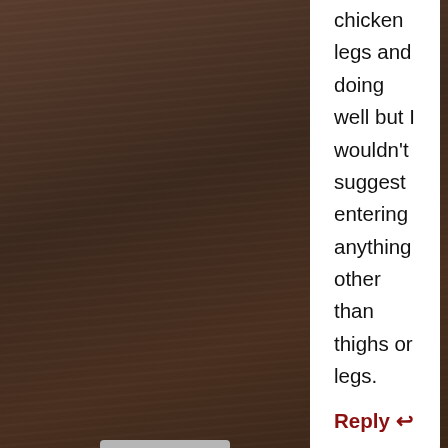chicken legs and doing well but I wouldn't suggest entering anything other than thighs or legs.
Reply ↩
[Figure (illustration): Default user avatar: grey square with white silhouette of a person]
Steve
AUGUST 27, 2018 AT 2:45 AM
Hey Malcom I am entering my third competition, but I have never used garnish in my turn in box. I practiced this weekend for the 1st tim...